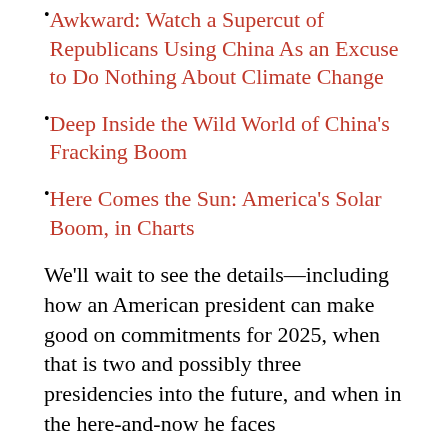Awkward: Watch a Supercut of Republicans Using China As an Excuse to Do Nothing About Climate Change
Deep Inside the Wild World of China's Fracking Boom
Here Comes the Sun: America's Solar Boom, in Charts
We'll wait to see the details—including how an American president can make good on commitments for 2025, when that is two and possibly three presidencies into the future, and when in the here-and-now he faces